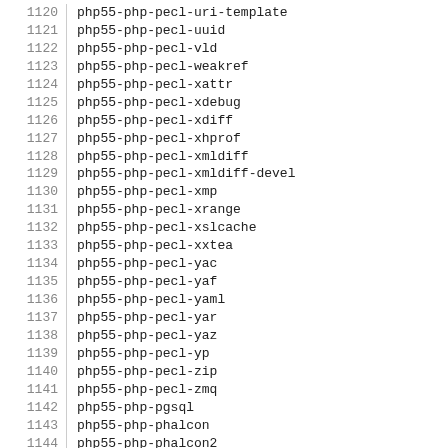1120  php55-php-pecl-uri-template
1121  php55-php-pecl-uuid
1122  php55-php-pecl-vld
1123  php55-php-pecl-weakref
1124  php55-php-pecl-xattr
1125  php55-php-pecl-xdebug
1126  php55-php-pecl-xdiff
1127  php55-php-pecl-xhprof
1128  php55-php-pecl-xmldiff
1129  php55-php-pecl-xmldiff-devel
1130  php55-php-pecl-xmp
1131  php55-php-pecl-xrange
1132  php55-php-pecl-xslcache
1133  php55-php-pecl-xxtea
1134  php55-php-pecl-yac
1135  php55-php-pecl-yaf
1136  php55-php-pecl-yaml
1137  php55-php-pecl-yar
1138  php55-php-pecl-yaz
1139  php55-php-pecl-yp
1140  php55-php-pecl-zip
1141  php55-php-pecl-zmq
1142  php55-php-pgsql
1143  php55-php-phalcon
1144  php55-php-phalcon2
1145  php55-php-phalcon3
1146  php55-php-phpiredis
1147  php55-php-phurple
1148  php55-php-pimple
1149  php55-php-process